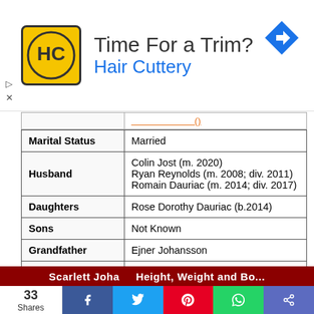[Figure (other): Hair Cuttery advertisement banner with logo (HC in circle on yellow background) and text 'Time For a Trim? Hair Cuttery' with a navigation arrow icon]
| Marital Status | Married |
| Husband | Colin Jost (m. 2020)
Ryan Reynolds (m. 2008; div. 2011)
Romain Dauriac (m. 2014; div. 2017) |
| Daughters | Rose Dorothy Dauriac (b.2014) |
| Sons | Not Known |
| Grandfather | Ejner Johansson |
| Boyfriends/ Affairs | Not Known |
[Figure (other): Partial red banner at bottom with white bold text reading 'Scarlett Johansson Height, Weight and Body...' (truncated)]
[Figure (other): Social media share bar: 33 Shares count, Facebook, Twitter, Pinterest, WhatsApp, and general share buttons]